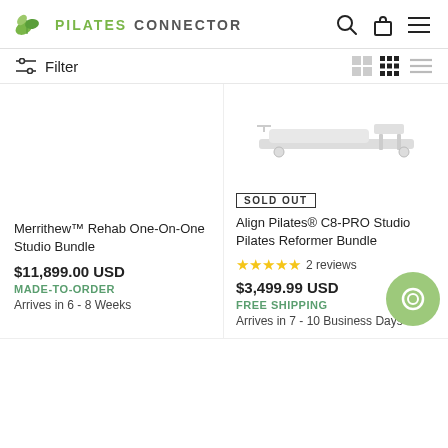PILATESCONNECTOR
Filter
[Figure (photo): No product image shown for Merrithew Rehab One-On-One Studio Bundle]
Merrithew™ Rehab One-On-One Studio Bundle
$11,899.00 USD
MADE-TO-ORDER
Arrives in 6 - 8 Weeks
[Figure (photo): Align Pilates C8-PRO Studio Pilates Reformer product image, light gray illustration]
SOLD OUT
Align Pilates® C8-PRO Studio Pilates Reformer Bundle
2 reviews
$3,499.99 USD
FREE SHIPPING
Arrives in 7 - 10 Business Days